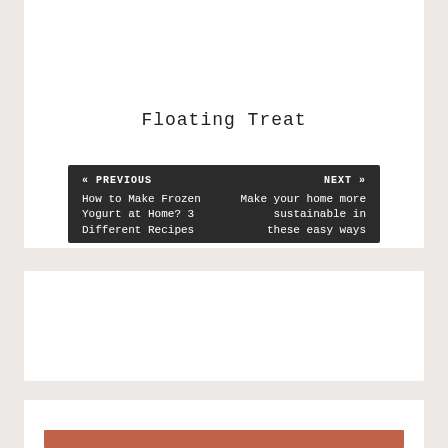Floating Treat
« PREVIOUS
How to Make Frozen Yogurt at Home? 3 Different Recipes
NEXT »
Make your home more sustainable in these easy ways
Search and Hit Enter